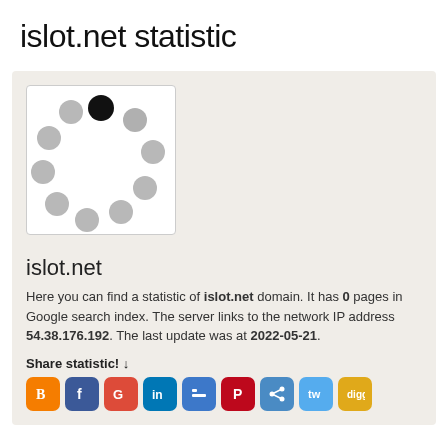islot.net statistic
[Figure (illustration): Loading spinner icon — circle of dots with one black dot at top and rest grey, inside a white rounded-border box]
islot.net
Here you can find a statistic of islot.net domain. It has 0 pages in Google search index. The server links to the network IP address 54.38.176.192. The last update was at 2022-05-21.
Share statistic! ↓
[Figure (illustration): Row of social media share icons: Blogger (orange), Facebook (blue), Google (red/green), LinkedIn (blue), del.icio.us (blue/white), Pinterest (red), social sharing (blue), Twitter (light blue), Digg (yellow)]